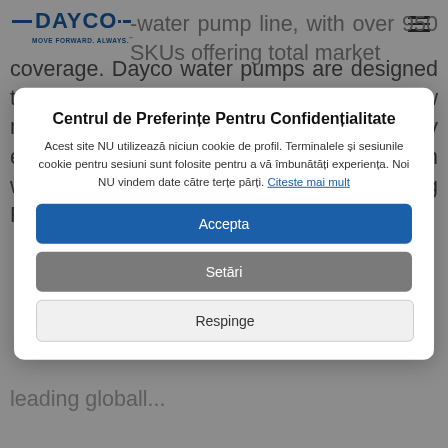DAYCO — MOVE FORWARD. ALWAYS.
water pump line, with over 950 SKUs offering total market coverage. Dayco water pumps are designed to meet OEM specifications. From raw material to complete assembly, all quality elements are controlled in-house. Each water pump is assembled using Programmable
Centrul de Preferințe Pentru Confidențialitate
Acest site NU utilizează niciun cookie de profil. Terminalele și sesiunile cookie pentru sesiuni sunt folosite pentru a vă îmbunătăți experiența. Noi NU vindem date către terțe părți. Citeste mai mult
Accepta
Setāri
Respinge